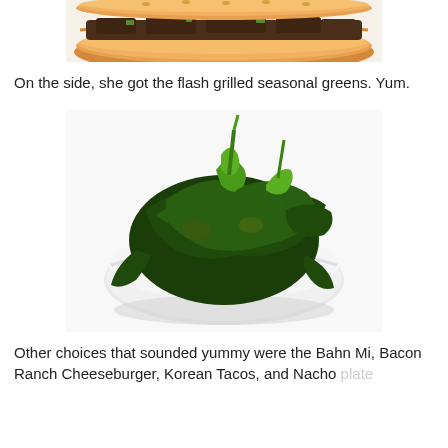[Figure (photo): Close-up photo of a sandwich on a hoagie roll with meat filling, partially visible at top of page]
On the side, she got the flash grilled seasonal greens. Yum.
[Figure (photo): Photo of flash grilled seasonal greens (dark leafy greens, appears to be kale or broccolini) served in a white bowl on a white background]
Other choices that sounded yummy were the Bahn Mi, Bacon Ranch Cheeseburger, Korean Tacos, and Nacho plate